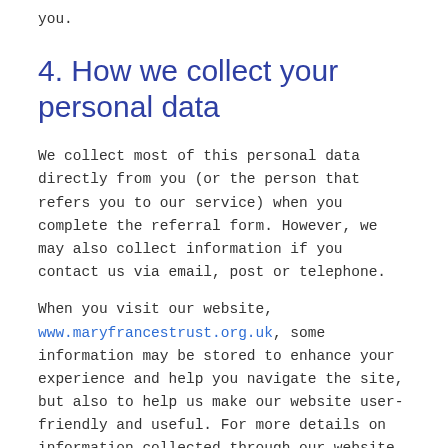you.
4. How we collect your personal data
We collect most of this personal data directly from you (or the person that refers you to our service) when you complete the referral form. However, we may also collect information if you contact us via email, post or telephone.
When you visit our website, www.maryfrancestrust.org.uk, some information may be stored to enhance your experience and help you navigate the site, but also to help us make our website user-friendly and useful. For more details on information collected through our website, please check our Cookies Policy.
5. Purposes for which we use